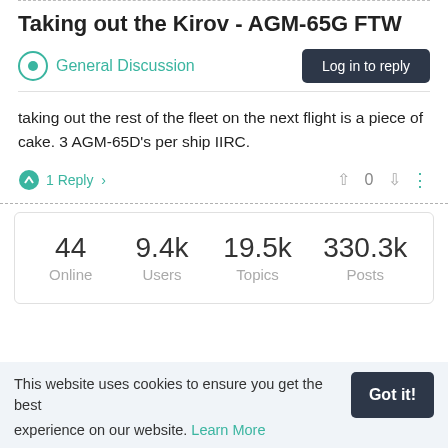Taking out the Kirov - AGM-65G FTW
General Discussion
taking out the rest of the fleet on the next flight is a piece of cake. 3 AGM-65D's per ship IIRC.
1 Reply >    0
| Online | Users | Topics | Posts |
| --- | --- | --- | --- |
| 44 | 9.4k | 19.5k | 330.3k |
This website uses cookies to ensure you get the best experience on our website. Learn More